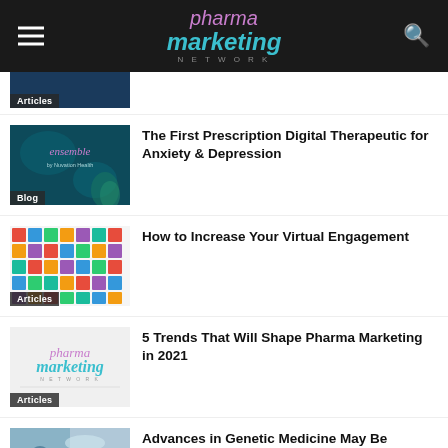pharma marketing NETWORK
[Figure (screenshot): Partial article thumbnail with Articles badge]
[Figure (illustration): Ensemble by Nuvation Health dark teal branded image with Blog badge]
The First Prescription Digital Therapeutic for Anxiety & Depression
[Figure (illustration): Grid of diverse illustrated faces with Articles badge]
How to Increase Your Virtual Engagement
[Figure (logo): Pharma Marketing Network logo on white background with Articles badge]
5 Trends That Will Shape Pharma Marketing in 2021
[Figure (photo): Scientist/researcher with DNA imagery with Articles badge]
Advances in Genetic Medicine May Be Outpacing Some Clinicians' Understanding, But Pharmaceutical